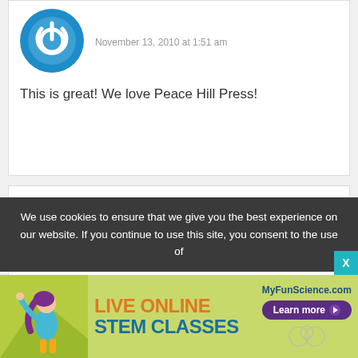[Figure (illustration): Blue power button icon avatar for comment 1]
November 13, 2010 at 1:51 am
This is great! We love Peace Hill Press!
[Figure (illustration): Blue power button icon avatar for Beth]
Beth
November 13, 2010 at 2:02 am
I love Peace Hill Press! Thank you for the entry.
We use cookies to ensure that we give you the best experience on our website. If you continue to use this site, you consent to the use of
[Figure (illustration): Live Online STEM Classes advertisement banner for MyFunScience.com]